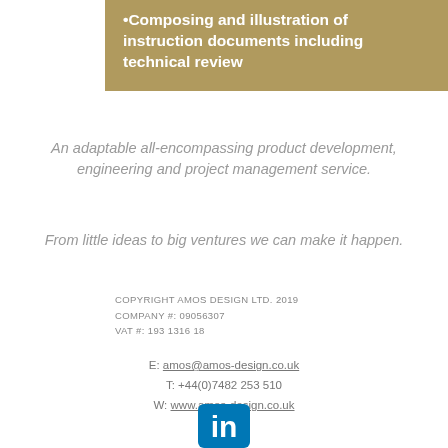•Composing and illustration of instruction documents including technical review
An adaptable all-encompassing product development, engineering and project management service.
From little ideas to big ventures we can make it happen.
COPYRIGHT AMOS DESIGN LTD. 2019
COMPANY #: 09056307
VAT #: 193 1316 18
E: amos@amos-design.co.uk
T: +44(0)7482 253 510
W: www.amos-design.co.uk
[Figure (logo): LinkedIn logo — blue rounded square with white 'in' text]